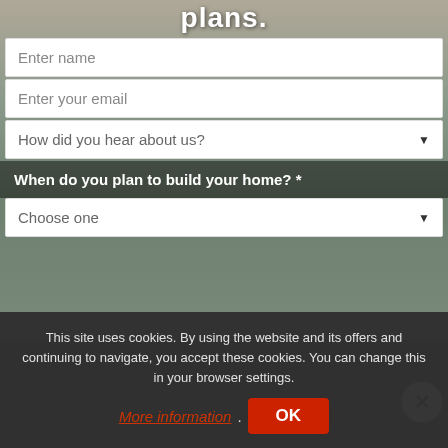plans.
Enter name
Enter your email
How did you hear about us?
When do you plan to build your home? *
Choose one
House Plan 1272-1 Calico Rock,
Phone Number *
Enter phone number
1272-1
Sign up for Text Alerts
This site uses cookies. By using the website and its offers and continuing to navigate, you accept these cookies. You can change this in your browser settings.
More information
OK